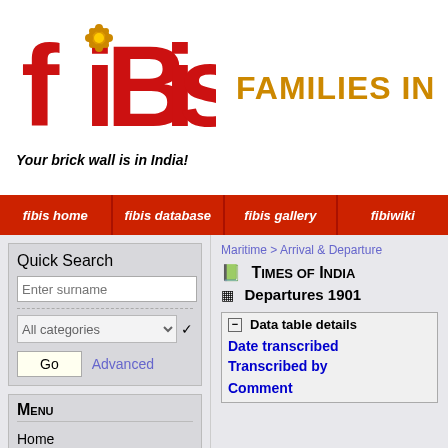[Figure (logo): FIBIS logo - red stylized text 'fibis' with decorative flower element in the 'i', on white background]
FAMILIES IN
Your brick wall is in India!
fibis home | fibis database | fibis gallery | fibiwiki
Quick Search
Enter surname
All categories
Go  Advanced
Menu
Home
FIBIS Membership
Maritime > Arrival & Departure
Times of India
Departures 1901
Data table details
Date transcribed
Transcribed by
Comment